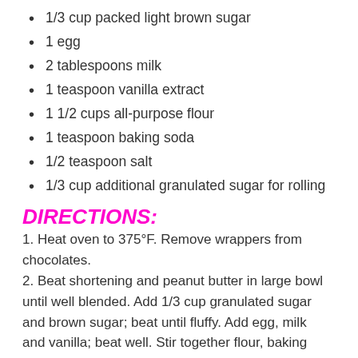1/3 cup packed light brown sugar
1 egg
2 tablespoons milk
1 teaspoon vanilla extract
1 1/2 cups all-purpose flour
1 teaspoon baking soda
1/2 teaspoon salt
1/3 cup additional granulated sugar for rolling
DIRECTIONS:
1. Heat oven to 375°F. Remove wrappers from chocolates. 2. Beat shortening and peanut butter in large bowl until well blended. Add 1/3 cup granulated sugar and brown sugar; beat until fluffy. Add egg, milk and vanilla; beat well. Stir together flour, baking soda and salt; gradually beat into peanut butter mixture.
3. Shape dough into 1-inch balls. Roll in granulated sugar;